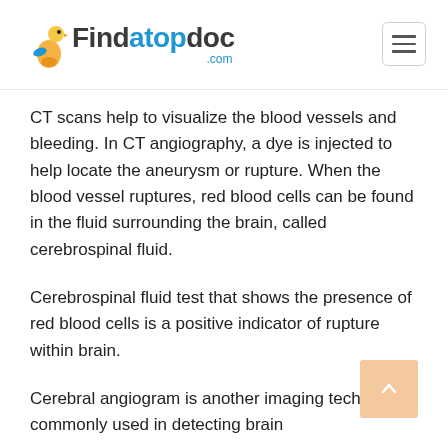Findatopdoc.com
CT scans help to visualize the blood vessels and bleeding. In CT angiography, a dye is injected to help locate the aneurysm or rupture. When the blood vessel ruptures, red blood cells can be found in the fluid surrounding the brain, called cerebrospinal fluid.
Cerebrospinal fluid test that shows the presence of red blood cells is a positive indicator of rupture within brain.
Cerebral angiogram is another imaging technique commonly used in detecting brain